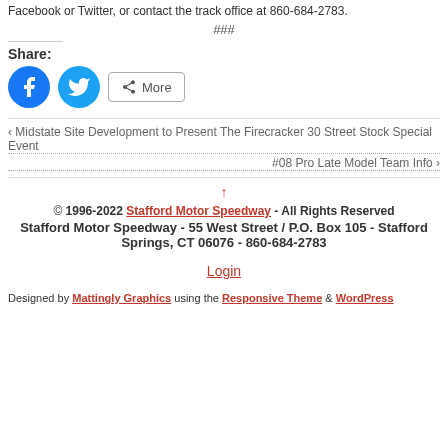Facebook or Twitter, or contact the track office at 860-684-2783.
###
Share:
[Figure (other): Facebook and Twitter share buttons, and a More button]
‹ Midstate Site Development to Present The Firecracker 30 Street Stock Special Event
#08 Pro Late Model Team Info ›
↑
© 1996-2022 Stafford Motor Speedway - All Rights Reserved
Stafford Motor Speedway - 55 West Street / P.O. Box 105 - Stafford Springs, CT 06076 - 860-684-2783
Login
Designed by Mattingly Graphics using the Responsive Theme & WordPress